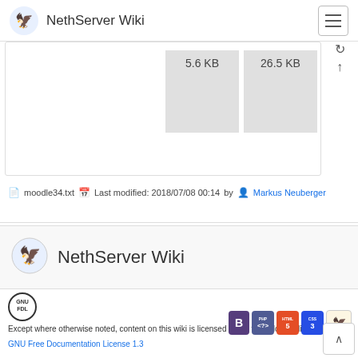NethServer Wiki
[Figure (screenshot): Partial table view showing two grey cells with file sizes '5.6 KB' and '26.5 KB']
moodle34.txt  Last modified: 2018/07/08 00:14 by  Markus Neuberger
NethServer Wiki
[Figure (logo): GNU FDL logo — circle with GNU FDL text]
Except where otherwise noted, content on this wiki is licensed under the following license:
GNU Free Documentation License 1.3
[Figure (logo): Technology badges: Bootstrap B, PHP, HTML5, CSS3, DokuWiki driven]